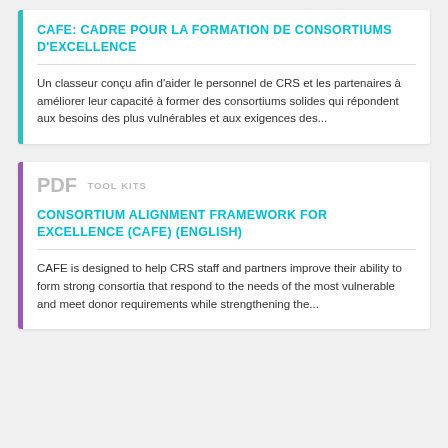CAFE: CADRE POUR LA FORMATION DE CONSORTIUMS D'EXCELLENCE
Un classeur conçu afin d'aider le personnel de CRS et les partenaires à améliorer leur capacité à former des consortiums solides qui répondent aux besoins des plus vulnérables et aux exigences des...
PDF  TOOL KITS
CONSORTIUM ALIGNMENT FRAMEWORK FOR EXCELLENCE (CAFE) (ENGLISH)
CAFE is designed to help CRS staff and partners improve their ability to form strong consortia that respond to the needs of the most vulnerable and meet donor requirements while strengthening the...